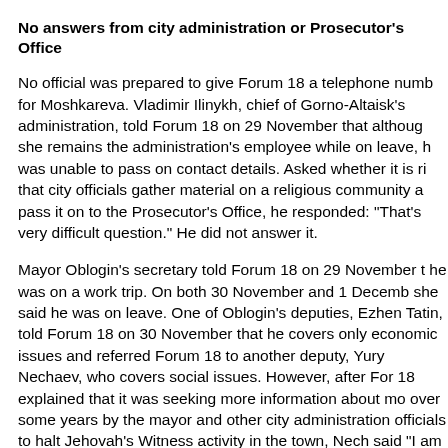No answers from city administration or Prosecutor's Office
No official was prepared to give Forum 18 a telephone number for Moshkareva. Vladimir Ilinykh, chief of Gorno-Altaisk's administration, told Forum 18 on 29 November that although she remains the administration's employee while on leave, he was unable to pass on contact details. Asked whether it is right that city officials gather material on a religious community and pass it on to the Prosecutor's Office, he responded: "That's a very difficult question." He did not answer it.
Mayor Oblogin's secretary told Forum 18 on 29 November that he was on a work trip. On both 30 November and 1 December she said he was on leave. One of Oblogin's deputies, Ezhen Tatin, told Forum 18 on 30 November that he covers only economic issues and referred Forum 18 to another deputy, Yury Nechaev, who covers social issues. However, after Forum 18 explained that it was seeking more information about moves over some years by the mayor and other city administration officials to halt Jehovah's Witness activity in the town, Nechaev said "I am not informed on this" and put the phone down.